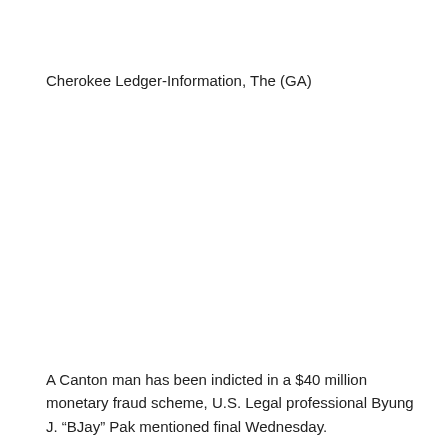Cherokee Ledger-Information, The (GA)
A Canton man has been indicted in a $40 million monetary fraud scheme, U.S. Legal professional Byung J. “BJay” Pak mentioned final Wednesday.